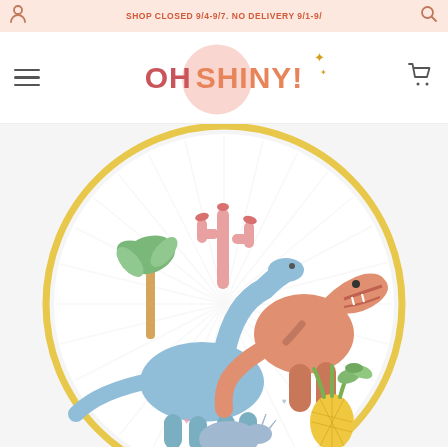SHOP CLOSED 9/4-9/7. NO DELIVERY 9/1-9/
[Figure (logo): Oh Shiny! logo with pink circle background, sparkle stars, coral OH and orange SHINY! text]
[Figure (photo): Decorative paper plate with pastel dinosaur scene: a blue brontosaurus, orange/pink T-rex, palm tree, pink cactus-like plant, pineapple, small succulents, set against a white fan/sunburst background with yellow circular border]